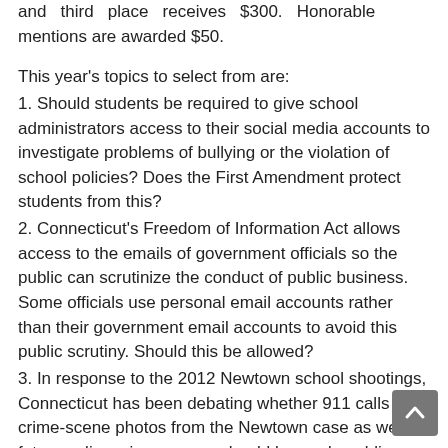and third place receives $300. Honorable mentions are awarded $50.
This year's topics to select from are:
1. Should students be required to give school administrators access to their social media accounts to investigate problems of bullying or the violation of school policies? Does the First Amendment protect students from this?
2. Connecticut's Freedom of Information Act allows access to the emails of government officials so the public can scrutinize the conduct of public business. Some officials use personal email accounts rather than their government email accounts to avoid this public scrutiny. Should this be allowed?
3. In response to the 2012 Newtown school shootings, Connecticut has been debating whether 911 calls and crime-scene photos from the Newtown case as well as future police crime scenes should be made public. Should they be made public?